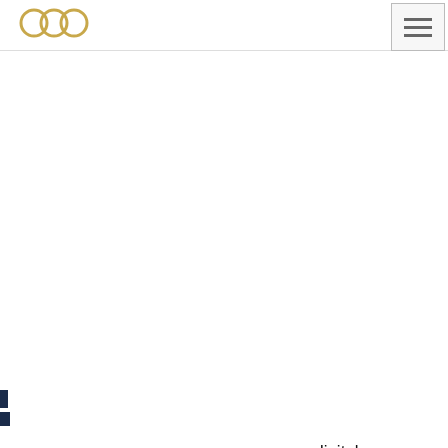[Figure (screenshot): Website header with logo (partial circular logo visible at top) and hamburger menu button in top right corner]
Wij gebruiken cookies op onze website om u de meest relevante ervaring te geven door het onthouden van uw voorkeuren en herhaalde bezoeken. Door op "Alles accepteren" te klikken, stemt u in met het gebruik van ALLE cookies. U kunt echter ook naar "Cookie-instellingen" gaan om een gecontroleerde toestemming te geven.
Cookie instellingen
Accepteer alle
a digital sformations l, how do you
lifferent business hich digital
-proof and how scribes her vision